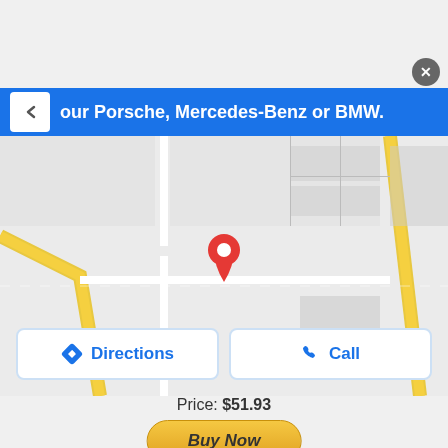[Figure (screenshot): Screenshot of a mobile web page showing a map with a location pin, Directions and Call buttons, a price of $51.93, a Buy Now button, and a product title for 91-99 Mitsubishi 3000gt Rear Splash Guards Wheel Well]
our Porsche, Mercedes-Benz or BMW.
[Figure (map): Google Maps-style street map with a red location pin marker in the center]
Directions
Call
Price: $51.93
Buy Now
91-99 Mitsubishi 3000gt Rear Splash Guards Wheel Well